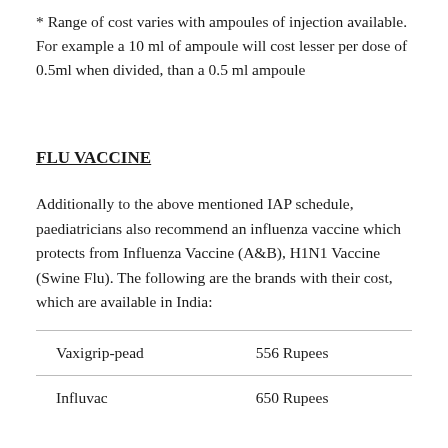* Range of cost varies with ampoules of injection available. For example a 10 ml of ampoule will cost lesser per dose of 0.5ml when divided, than a 0.5 ml ampoule
FLU VACCINE
Additionally to the above mentioned IAP schedule, paediatricians also recommend an influenza vaccine which protects from Influenza Vaccine (A&B), H1N1 Vaccine (Swine Flu). The following are the brands with their cost, which are available in India:
| Brand | Cost |
| --- | --- |
| Vaxigrip-pead | 556 Rupees |
| Influvac | 650 Rupees |